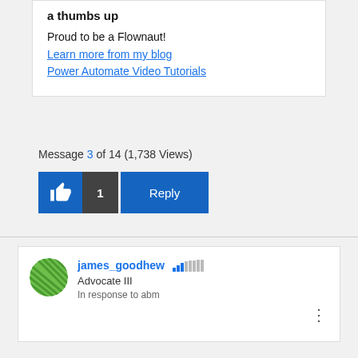a thumbs up
Proud to be a Flownaut!
Learn more from my blog
Power Automate Video Tutorials
Message 3 of 14 (1,738 Views)
james_goodhew  Advocate III  In response to abm